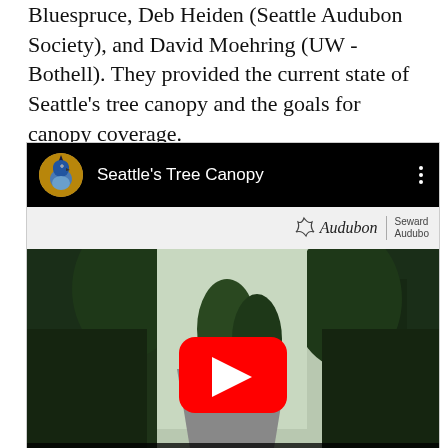Bluespruce, Deb Heiden (Seattle Audubon Society), and David Moehring (UW - Bothell). They provided the current state of Seattle's tree canopy and the goals for canopy coverage.
[Figure (screenshot): YouTube video thumbnail for 'Seattle's Tree Canopy'. Shows a black top bar with a circular bird avatar icon, the title 'Seattle’s Tree Canopy', and three-dot menu. Below is an Audubon/Seward Audubon logo bar. The main thumbnail shows a street-view photo of tall trees with a YouTube play button overlay. At the bottom a dark caption bar shows 'ttle Tree Canopy'.]